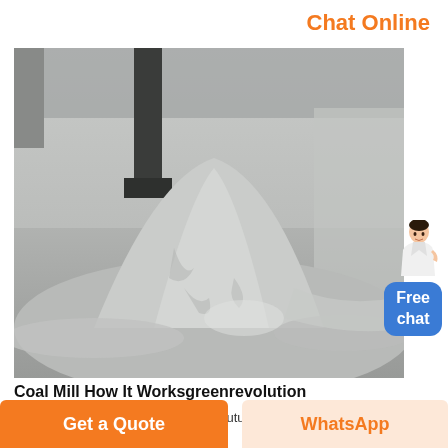Chat Online
[Figure (photo): A large pile of fine grey powdered coal/cement material on an industrial floor, with metal equipment/pole visible in background.]
[Figure (illustration): Free chat widget with a person (customer service representative) figure standing next to a blue rounded rectangle button reading 'Free chat']
Coal Mill How It Worksgreenrevolution
How to set up coal pulverizer plantyoutube may 20 2013 pulverized coal mill how does
Get a Quote
WhatsApp